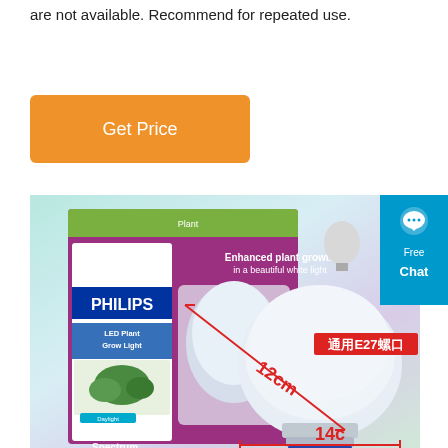are not available. Recommend for repeated use.
[Figure (other): Orange 'Get Price' button]
[Figure (photo): Philips LED Plant Grow Light product packaging and bulb showing dimensions 12cm x 14cm, with Chinese text 通用E27螺口 (Universal E27 socket), Full Spectrum White, 16w LED, PAR38 Flood, Lasts 25,000 hours, 3 Year Warranty]
[Figure (other): Free Chat widget button in blue on right side]